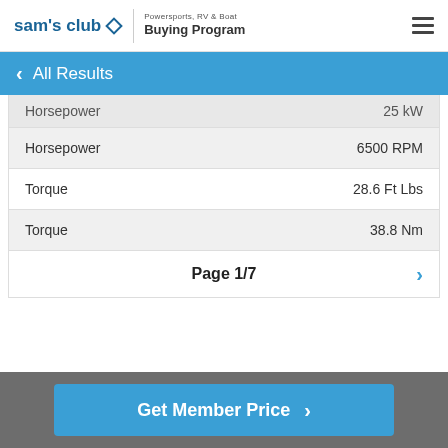sam's club — Powersports, RV & Boat Buying Program
< All Results
| Attribute | Value |
| --- | --- |
| Horsepower | 25 kW |
| Horsepower | 6500 RPM |
| Torque | 28.6 Ft Lbs |
| Torque | 38.8 Nm |
Page 1/7
Get Member Price